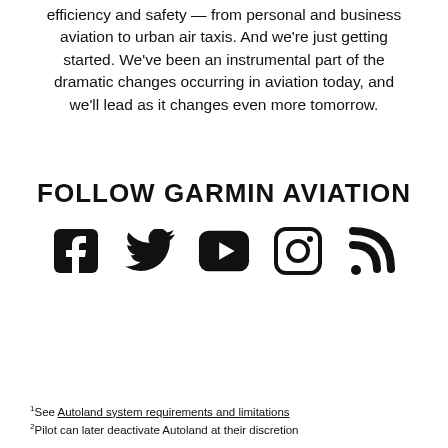efficiency and safety — from personal and business aviation to urban air taxis. And we're just getting started. We've been an instrumental part of the dramatic changes occurring in aviation today, and we'll lead as it changes even more tomorrow.
FOLLOW GARMIN AVIATION
[Figure (illustration): Five social media icons in a row: Facebook, Twitter, YouTube, Instagram, RSS feed]
1See Autoland system requirements and limitations
2Pilot can later deactivate Autoland at their discretion